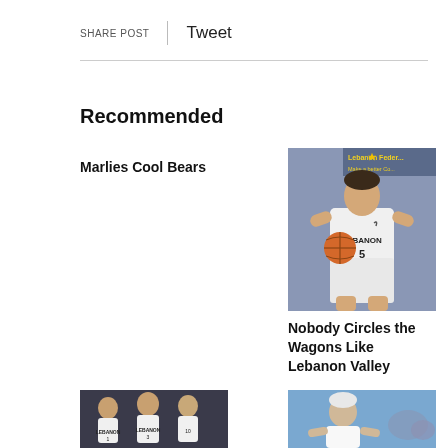SHARE POST | Tweet
Recommended
Marlies Cool Bears
[Figure (photo): Basketball player wearing Lebanon #5 jersey holding a basketball, blue background with Lebanon Federal sign]
Nobody Circles the Wagons Like Lebanon Valley
[Figure (photo): Three female basketball players in Lebanon uniforms standing together]
[Figure (photo): Elderly person in white shirt at a sports event]